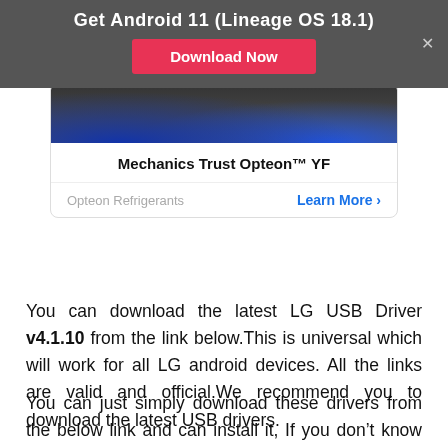[Figure (screenshot): Dark gray banner ad for 'Get Android 11 (Lineage OS 18.1)' with a red 'Download Now' button and an X close button]
[Figure (advertisement): Ad card for 'Mechanics Trust Opteon YF' refrigerant with a photo of mechanics, product headline, and 'Opteon Refrigerants Learn More' link]
You can download the latest LG USB Driver v4.1.10 from the link below.This is universal which will work for all LG android devices. All the links are valid and official.We recommend you to download the latest USB drivers.
You can just simply download these drivers from the below link and can install it, If you don't know how to install USB drivers on PC or laptop then I'll tell you How